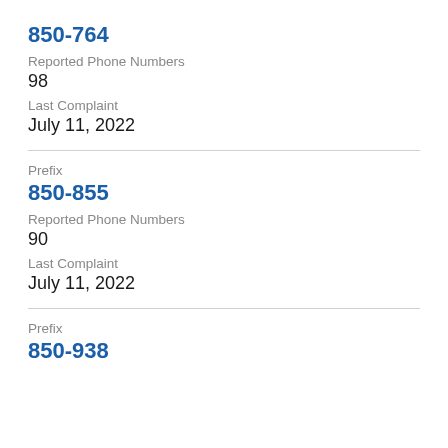850-764
Reported Phone Numbers
98
Last Complaint
July 11, 2022
Prefix
850-855
Reported Phone Numbers
90
Last Complaint
July 11, 2022
Prefix
850-938